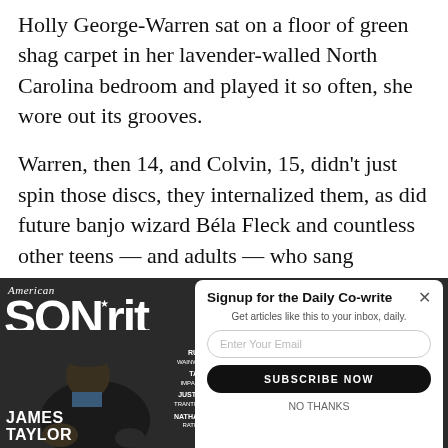Holly George-Warren sat on a floor of green shag carpet in her lavender-walled North Carolina bedroom and played it so often, she wore out its grooves.
Warren, then 14, and Colvin, 15, didn't just spin those discs, they internalized them, as did future banjo wizard Béla Fleck and countless other teens — and adults — who sang Tapestery songs around campfires
[Figure (other): American Songwriter magazine cover featuring James Taylor, with a popup overlay for newsletter signup showing an email input and Subscribe Now button]